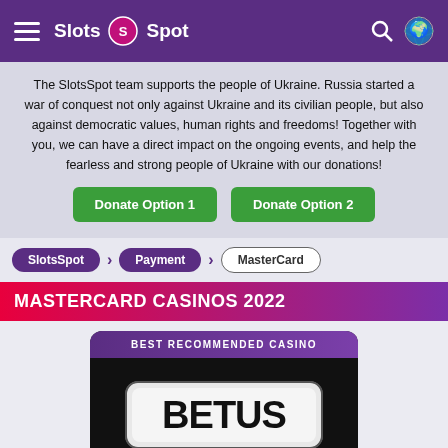Slots Spot
The SlotsSpot team supports the people of Ukraine. Russia started a war of conquest not only against Ukraine and its civilian people, but also against democratic values, human rights and freedoms! Together with you, we can have a direct impact on the ongoing events, and help the fearless and strong people of Ukraine with our donations!
Donate Option 1
Donate Option 2
SlotsSpot > Payment > MasterCard
MASTERCARD CASINOS 2022
[Figure (logo): BetUS casino logo on dark background with 'BEST RECOMMENDED CASINO' banner above]
BetUS Casino